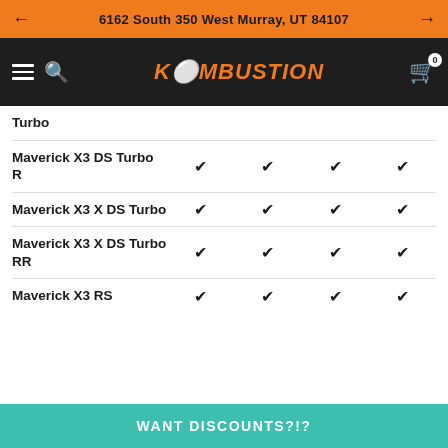← 6162 South 350 West Murray, UT 84107 →
[Figure (logo): Kombustion logo with hamburger menu, search icon, and cart icon on dark background]
| Model | ✓ | ✓ | ✓ | ✓ |
| --- | --- | --- | --- | --- |
| Turbo |  |  |  |  |
| Maverick X3 DS Turbo R | ✓ | ✓ | ✓ | ✓ |
| Maverick X3 X DS Turbo | ✓ | ✓ | ✓ | ✓ |
| Maverick X3 X DS Turbo RR | ✓ | ✓ | ✓ | ✓ |
| Maverick X3 RS | ✓ | ✓ | ✓ | ✓ |
WANT DISCOUNTS?!?